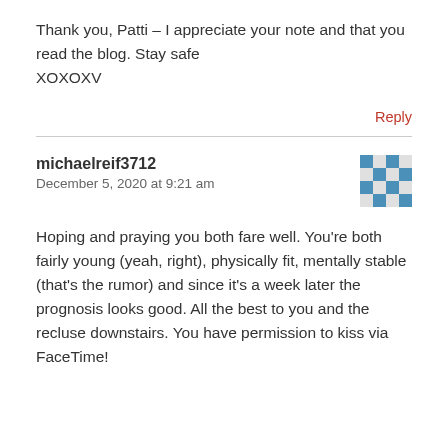Thank you, Patti – I appreciate your note and that you read the blog. Stay safe XOXOXV
Reply
michaelreif3712
December 5, 2020 at 9:21 am
Hoping and praying you both fare well. You're both fairly young (yeah, right), physically fit, mentally stable (that's the rumor) and since it's a week later the prognosis looks good. All the best to you and the recluse downstairs. You have permission to kiss via FaceTime!